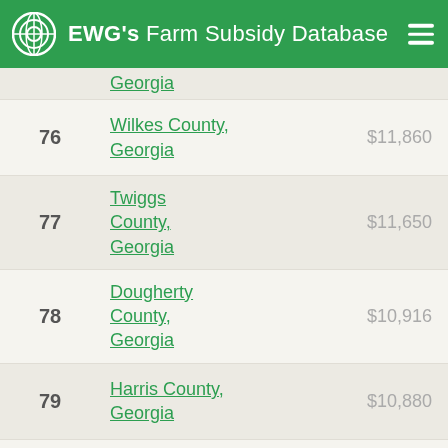EWG's Farm Subsidy Database
| Rank | County | Amount |
| --- | --- | --- |
| 76 | Wilkes County, Georgia | $11,860 |
| 77 | Twiggs County, Georgia | $11,650 |
| 78 | Dougherty County, Georgia | $10,916 |
| 79 | Harris County, Georgia | $10,880 |
| 80 | Bacon County, Georgia | $10,076 |